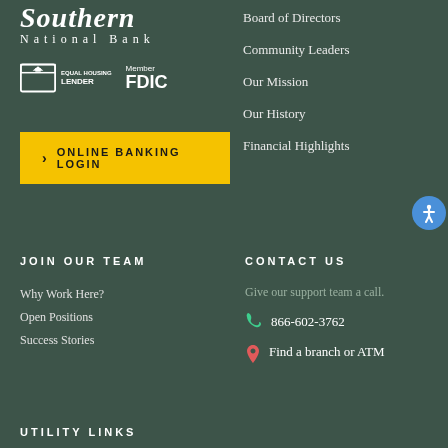Southern National Bank
[Figure (logo): Equal Housing Lender and Member FDIC badges]
› ONLINE BANKING LOGIN
Board of Directors
Community Leaders
Our Mission
Our History
Financial Highlights
JOIN OUR TEAM
Why Work Here?
Open Positions
Success Stories
CONTACT US
Give our support team a call.
866-602-3762
Find a branch or ATM
UTILITY LINKS